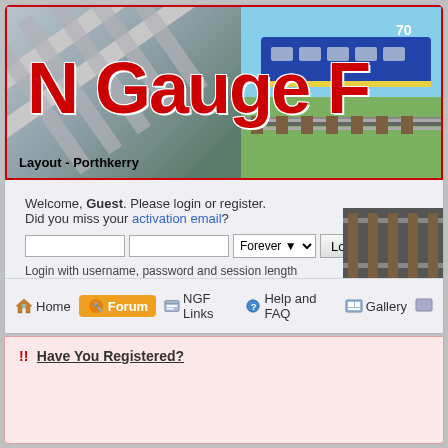[Figure (screenshot): N Gauge Forum website banner with diagonal track pattern and red bold text 'N Gauge F...' with subtitle 'Layout - Porthkerry']
Welcome, Guest. Please login or register.
Did you miss your activation email?
Login with username, password and session length
Home   Forum   NGF Links   Help and FAQ   Gallery
!! Have You Registered?